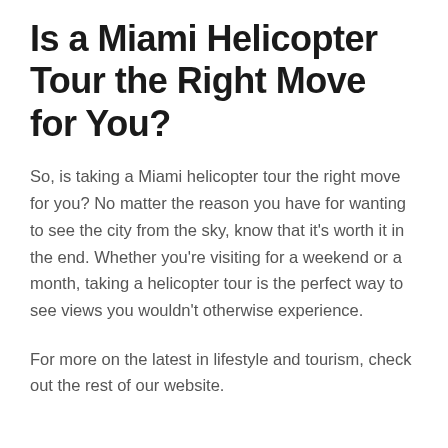Is a Miami Helicopter Tour the Right Move for You?
So, is taking a Miami helicopter tour the right move for you? No matter the reason you have for wanting to see the city from the sky, know that it’s worth it in the end. Whether you’re visiting for a weekend or a month, taking a helicopter tour is the perfect way to see views you wouldn’t otherwise experience.
For more on the latest in lifestyle and tourism, check out the rest of our website.